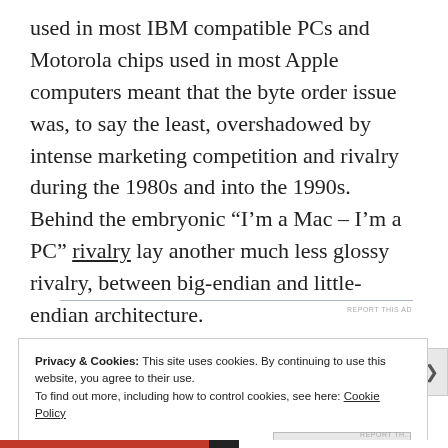used in most IBM compatible PCs and Motorola chips used in most Apple computers meant that the byte order issue was, to say the least, overshadowed by intense marketing competition and rivalry during the 1980s and into the 1990s. Behind the embryonic “I’m a Mac – I’m a PC” rivalry lay another much less glossy rivalry, between big-endian and little-endian architecture.
Privacy & Cookies: This site uses cookies. By continuing to use this website, you agree to their use.
To find out more, including how to control cookies, see here: Cookie Policy